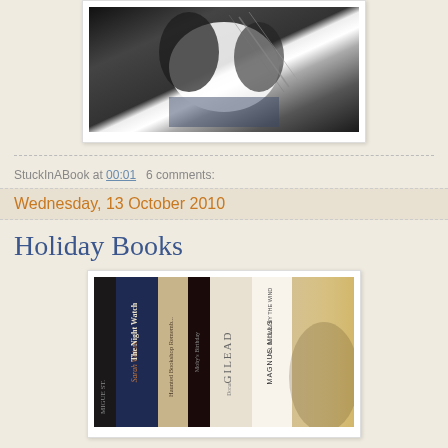[Figure (photo): Black and white photo of a cat, framed with white border]
StuckInABook at 00:01   6 comments:
Wednesday, 13 October 2010
Holiday Books
[Figure (photo): Photo of several book spines including Sarah Waters The Night Watch, The Haunted Bookshop, Moby Birthday, Gilead, Magnus Mills]